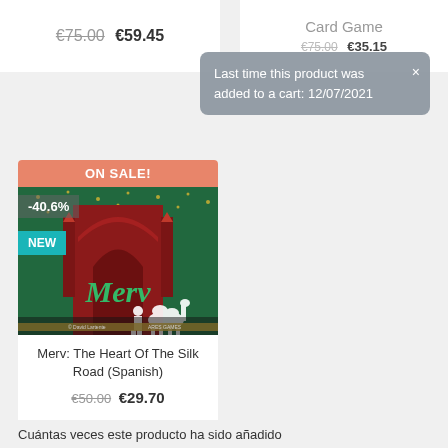€75.00 €59.45
Card Game
Last time this product was added to a cart: 12/07/2021
[Figure (illustration): Board game product card for 'Merv: The Heart Of The Silk Road (Spanish)' showing an ON SALE! banner in salmon/orange, a -40.6% discount badge, a NEW badge in teal, and a colorful illustration of an Arabian/Moroccan architecture with a camel and person silhouette. Below the image is the product title and price: €50.00 €29.70]
Merv: The Heart Of The Silk Road (Spanish)
€50.00 €29.70
Cuántas veces este producto ha sido añadido